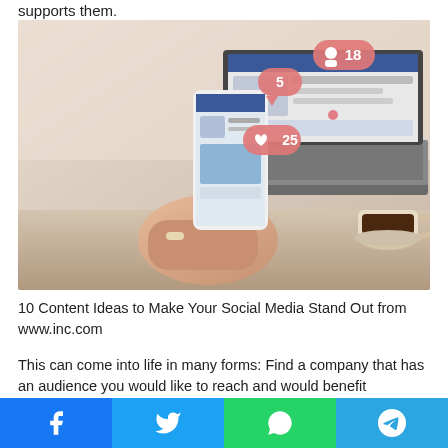supports them.
[Figure (photo): Person holding a smartphone with social media notification icons (comments:5, followers:18, likes:25) floating above, with an open laptop showing a social media feed in the background, and a coffee cup on the right.]
10 Content Ideas to Make Your Social Media Stand Out from www.inc.com
This can come into life in many forms: Find a company that has an audience you would like to reach and would benefit
Facebook  Twitter  WhatsApp  Telegram